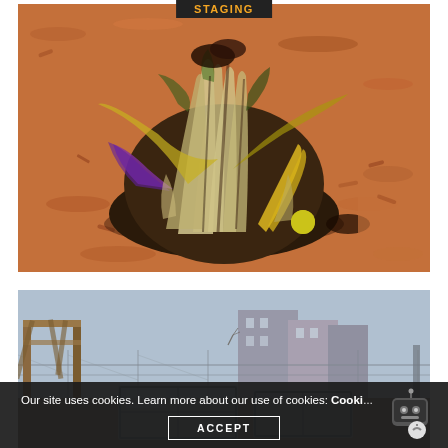STAGING
[Figure (photo): A pile of vegetable food scraps and compost material including leek leaves, banana peel, cabbage, citrus, on a bed of reddish wood chip mulch]
[Figure (photo): An outdoor urban garden or community garden area with a wooden structure/pergola, chain-link fence, and cold frames or greenhouse panels on the ground, with buildings in the background]
Our site uses cookies. Learn more about our use of cookies: Cookie
ACCEPT